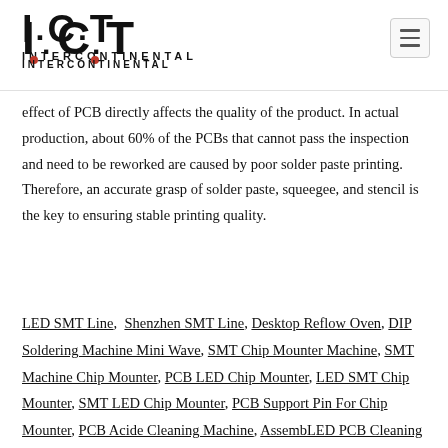I.C.T INTERCONTINENTAL logo and menu button
effect of PCB directly affects the quality of the product. In actual production, about 60% of the PCBs that cannot pass the inspection and need to be reworked are caused by poor solder paste printing. Therefore, an accurate grasp of solder paste, squeegee, and stencil is the key to ensuring stable printing quality.
LED SMT Line, Shenzhen SMT Line, Desktop Reflow Oven, DIP Soldering Machine Mini Wave, SMT Chip Mounter Machine, SMT Machine Chip Mounter, PCB LED Chip Mounter, LED SMT Chip Mounter, SMT LED Chip Mounter, PCB Support Pin For Chip Mounter, PCB Acide Cleaning Machine, AssembLED PCB Cleaning Machine, PCB Brush Cleaning Machine, PCB Chemical Cleaning Machine